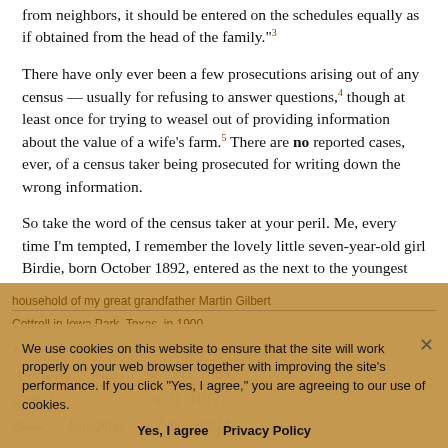from neighbors, it should be entered on the schedules equally as if obtained from the head of the family."³
There have only ever been a few prosecutions arising out of any census — usually for refusing to answer questions,⁴ though at least once for trying to weasel out of providing information about the value of a wife’s farm.⁵ There are no reported cases, ever, of a census taker being prosecuted for writing down the wrong information.
So take the word of the census taker at your peril. Me, every time I’m tempted, I remember the lovely little seven-year-old girl Birdie, born October 1892, entered as the next to the youngest child in the household of my great grandfather Martin Gilbert Cottrell in Iowa Park, Texas, in 1900.
[Figure (photo): Handwritten census record showing household entries in cursive, partially obscured by a cookie consent overlay. Background is tan/brown colored parchment-like census form.]
We use cookies on this website to ensure that the site will work properly on your web browser together with improving the site’s performance. If you click “Yes, I agree,” you are agreeing to our use of cookies.